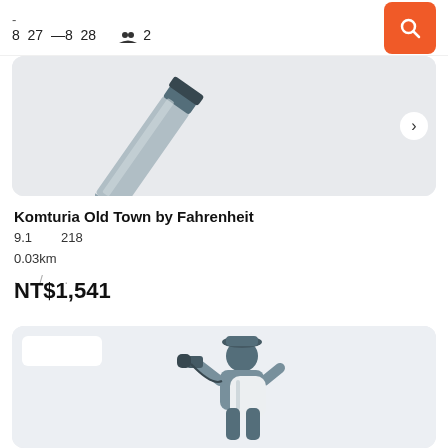8  27  —8  28    2
[Figure (illustration): Partially visible hotel image with pen/pencil illustration on light grey background, with right arrow button]
Komturia Old Town by Fahrenheit
9.1    218
0.03km
. / .
NT$1,541
[Figure (illustration): Traveler with backpack looking through binoculars, illustrated character on light grey background]